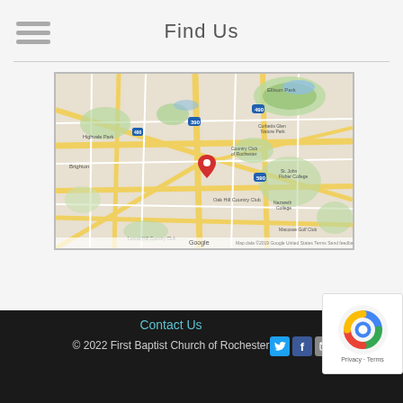Find Us
[Figure (map): Google Maps screenshot showing Rochester area with red location pin marking First Baptist Church of Rochester. Surrounding areas include Brighton, Oak Hill Country Club, Corbetts Glen Nature Park, Country Club of Rochester, St. John Fisher College, Nazareth College, and Locust Hill Country Club.]
Contact Us
© 2022 First Baptist Church of Rochester